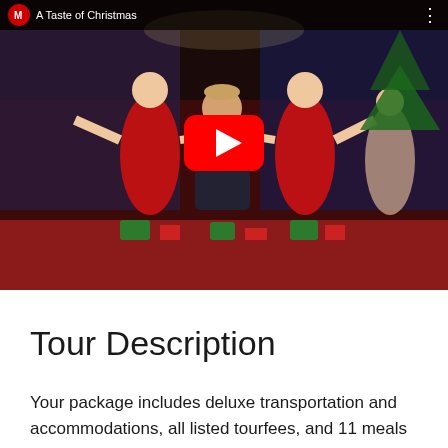[Figure (screenshot): YouTube video thumbnail titled 'A Taste of Christmas' showing a performer in a tuxedo flanked by two women in red dresses on a festive stage, with YouTube play button overlay and top navigation bar.]
Tour Description
Your package includes deluxe transportation and accommodations, all listed tourfees, and 11 meals...